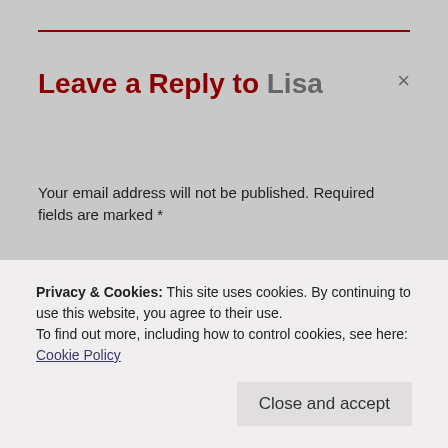Leave a Reply to Lisa
Your email address will not be published. Required fields are marked *
COMMENT *
Privacy & Cookies: This site uses cookies. By continuing to use this website, you agree to their use.
To find out more, including how to control cookies, see here:
Cookie Policy
Close and accept